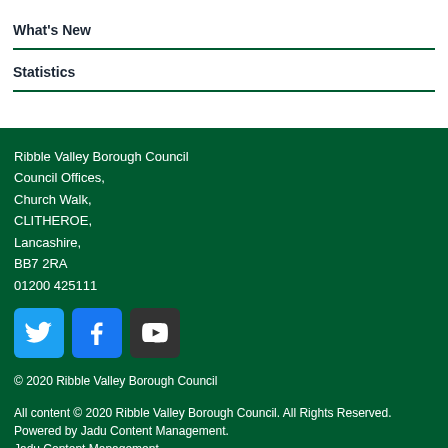What's New
Statistics
Ribble Valley Borough Council
Council Offices,
Church Walk,
CLITHEROE,
Lancashire,
BB7 2RA
01200 425111
[Figure (other): Social media icons: Twitter, Facebook, YouTube]
© 2020 Ribble Valley Borough Council
All content © 2020 Ribble Valley Borough Council. All Rights Reserved. Powered by Jadu Content Management.